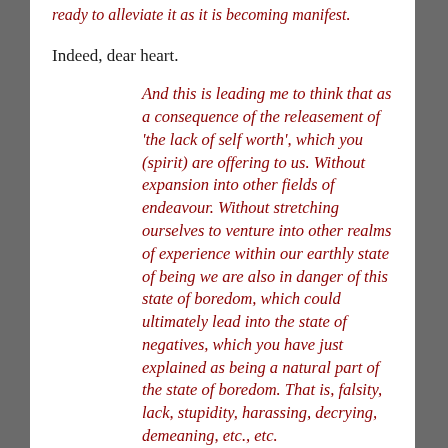ready to alleviate it as it is becoming manifest.
Indeed, dear heart.
And this is leading me to think that as a consequence of the releasement of 'the lack of self worth', which you (spirit) are offering to us. Without expansion into other fields of endeavour. Without stretching ourselves to venture into other realms of experience within our earthly state of being we are also in danger of this state of boredom, which could ultimately lead into the state of negatives, which you have just explained as being a natural part of the state of boredom. That is, falsity, lack, stupidity, harassing, decrying, demeaning, etc., etc.
Is this so? The state of perfection brings